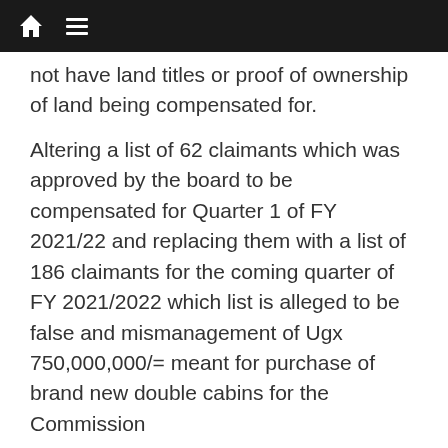[navigation bar with home icon and menu icon]
not have land titles or proof of ownership of land being compensated for.
Altering a list of 62 claimants which was approved by the board to be compensated for Quarter 1 of FY 2021/22 and replacing them with a list of 186 claimants for the coming quarter of FY 2021/2022 which list is alleged to be false and mismanagement of Ugx 750,000,000/= meant for purchase of brand new double cabins for the Commission
Author	Recent Posts
UgandaUpdate